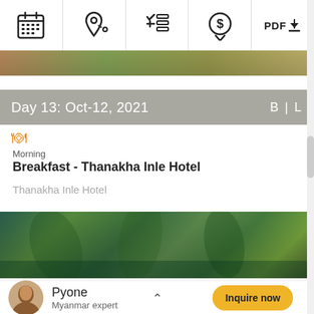[Figure (screenshot): Top navigation toolbar with icons: calendar, location pin, checklist, dollar speech bubble, and PDF download button]
[Figure (photo): Narrow horizontal hero image of a scenic outdoor path or garden]
Day 13: Oct-12, 2021   B | L
Morning
Breakfast - Thanakha Inle Hotel
Thanakha Inle Hotel
[Figure (photo): Wide photo of a waterfront garden area with tropical plants and palm trees at Thanakha Inle Hotel]
Pyone
Myanmar expert
Inquire now